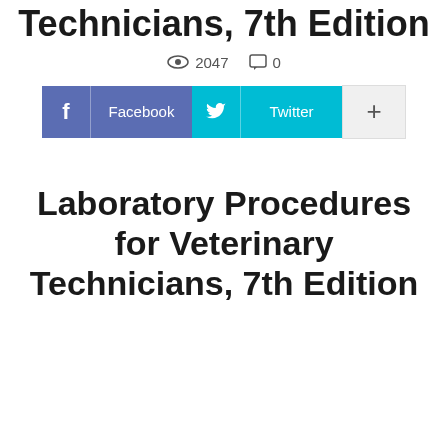Technicians, 7th Edition
2047 views  0 comments
[Figure (screenshot): Social share buttons: Facebook (blue-purple), Twitter (cyan), and a plus button (light gray)]
Laboratory Procedures for Veterinary Technicians, 7th Edition